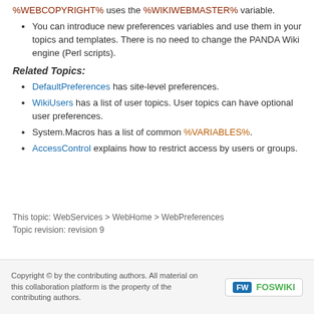%WEBCOPYRIGHT% uses the %WIKIWEBMASTER% variable.
You can introduce new preferences variables and use them in your topics and templates. There is no need to change the PANDA Wiki engine (Perl scripts).
Related Topics:
DefaultPreferences has site-level preferences.
WikiUsers has a list of user topics. User topics can have optional user preferences.
System.Macros has a list of common %VARIABLES%.
AccessControl explains how to restrict access by users or groups.
This topic: WebServices > WebHome > WebPreferences
Topic revision: revision 9
Copyright © by the contributing authors. All material on this collaboration platform is the property of the contributing authors.